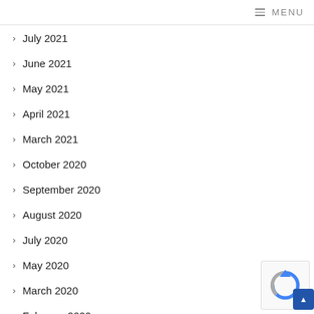MENU
July 2021
June 2021
May 2021
April 2021
March 2021
October 2020
September 2020
August 2020
July 2020
May 2020
March 2020
February 2020
January 2020